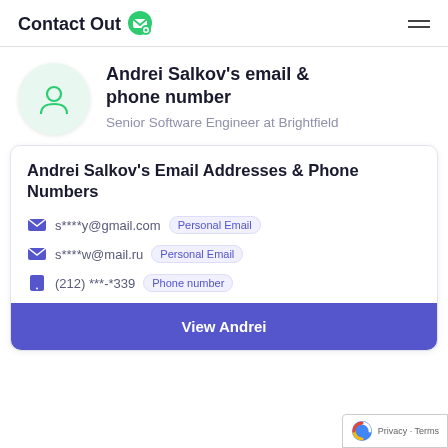ContactOut
Andrei Salkov's email & phone number
Senior Software Engineer at Brightfield
Andrei Salkov's Email Addresses & Phone Numbers
s****y@gmail.com  Personal Email
s****w@mail.ru  Personal Email
(212) ***-*339  Phone number
View Andrei